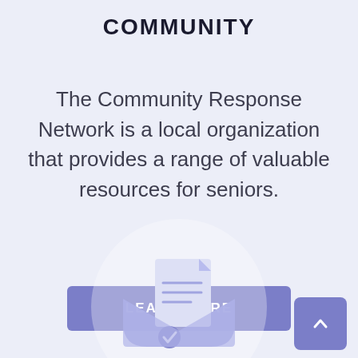COMMUNITY
The Community Response Network is a local organization that provides a range of valuable resources for seniors.
[Figure (other): A medium blue/purple rounded rectangle button labeled LEARN MORE in white uppercase bold text]
[Figure (illustration): A circular light background with an envelope and document icon (mail with checkmark) illustration at the bottom of the page, partially cropped]
[Figure (other): A purple square back-to-top button with a white upward chevron arrow in the bottom right corner]